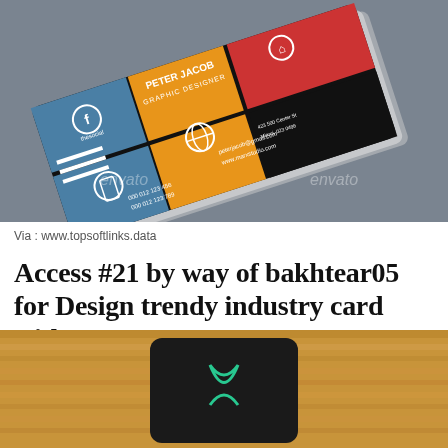[Figure (photo): Stack of modern graphic design business cards on a concrete surface. Cards show colorful grid layout with blue, orange, and red sections. Text reads 'PETER JACOB GRAPHIC DESIGNER' with social media icons and contact details. Envato watermarks visible.]
Via : www.topsoftlinks.data
Access #21 by way of bakhtear05 for Design trendy industry card with
[Figure (photo): A dark business card with a green/teal logo graphic placed on a wooden surface background.]